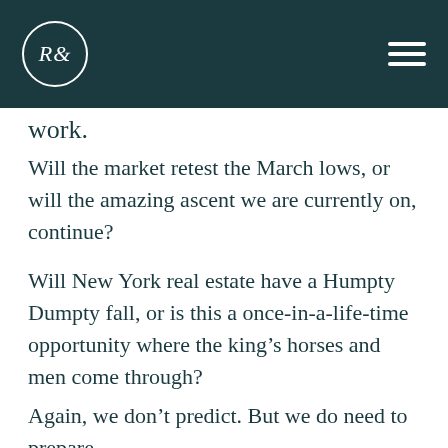R&
work.
Will the market retest the March lows, or will the amazing ascent we are currently on, continue?
Will New York real estate have a Humpty Dumpty fall, or is this a once-in-a-life-time opportunity where the king's horses and men come through?
Again, we don't predict. But we do need to prepare.